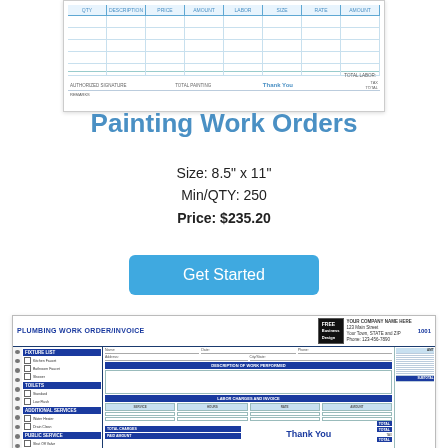[Figure (illustration): Thumbnail preview of a painting work order form with blue column headers (QTY, DESCRIPTION, PRICE, AMOUNT, LABOR, SIZE, RATE, AMOUNT) and multiple blank data rows. Bottom shows totals area and 'Thank You' in blue text.]
Painting Work Orders
Size: 8.5" x 11"
Min/QTY: 250
Price: $235.20
Get Started
[Figure (illustration): Thumbnail preview of a Plumbing Work Order/Invoice form with dark blue headers, a checklist of plumbing items on the left, FREE Business Design badge, company info area, labor grid, totals column on the right, and 'Thank You' in blue at bottom.]